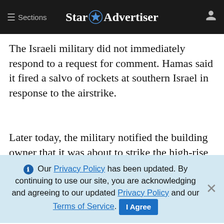≡ Sections  Star Advertiser
The Israeli military did not immediately respond to a request for comment. Hamas said it fired a salvo of rockets at southern Israel in response to the airstrike.
Later today, the military notified the building owner that it was about to strike the high-rise in Gaza City where The Associated Press and other media outlets, including Al Jazeera, have their offices. Residents of the building, including AP staff,
ADVERTISEMENT
ℹ Our Privacy Policy has been updated. By continuing to use our site, you are acknowledging and agreeing to our updated Privacy Policy and our Terms of Service. I Agree